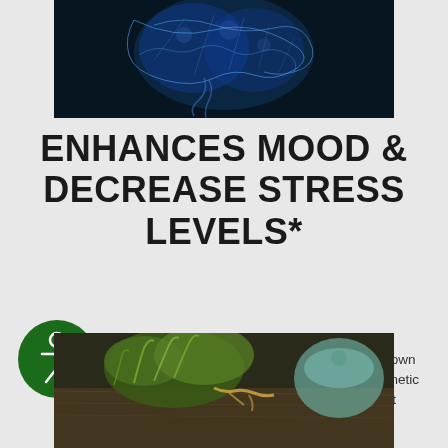[Figure (photo): Blue illuminated brain/neural network illustration on dark background]
ENHANCES MOOD & DECREASE STRESS LEVELS*
[Figure (illustration): Green circular accessibility icon with human figure, white outline on dark green background]
traditional Chinese medicine for thousands of years, ginseng en shown to improve calmness, mental arithmetic and also has been shown to exhibit impressive anti-stress properties.
[Figure (photo): Ginseng roots and green tea herbs on wooden surface with ceramic teapot]